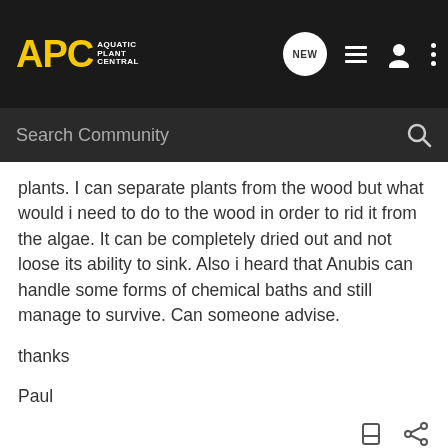APC - Aquatic Plant Central
plants. I can separate plants from the wood but what would i need to do to the wood in order to rid it from the algae. It can be completely dried out and not loose its ability to sink. Also i heard that Anubis can handle some forms of chemical baths and still manage to survive. Can someone advise.

thanks

Paul
Hawkeye · Registered
Joined Aug 19, 2004 · 17 Posts